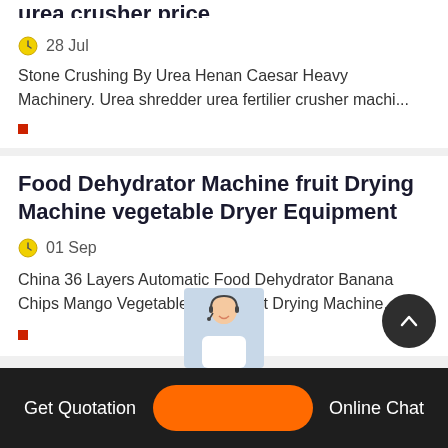urea crusher price
28 Jul
Stone Crushing By Urea Henan Caesar Heavy Machinery. Urea shredder urea fertilier crusher machi...
Food Dehydrator Machine fruit Drying Machine vegetable Dryer Equipment
01 Sep
China 36 Layers Automatic Food Dehydrator Banana Chips Mango Vegetable Dryer Fruit Drying Machine,...
Get Quotation   Online Chat